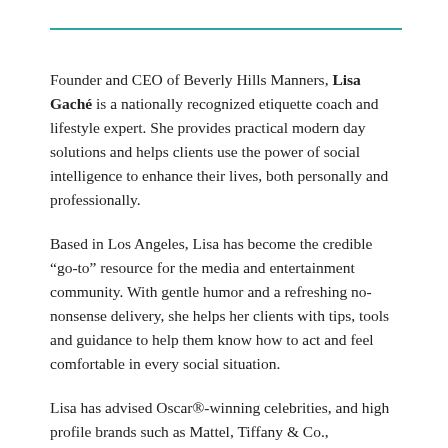Founder and CEO of Beverly Hills Manners, Lisa Gaché is a nationally recognized etiquette coach and lifestyle expert. She provides practical modern day solutions and helps clients use the power of social intelligence to enhance their lives, both personally and professionally.
Based in Los Angeles, Lisa has become the credible “go-to” resource for the media and entertainment community. With gentle humor and a refreshing no-nonsense delivery, she helps her clients with tips, tools and guidance to help them know how to act and feel comfortable in every social situation.
Lisa has advised Oscar®-winning celebrities, and high profile brands such as Mattel, Tiffany & Co.,